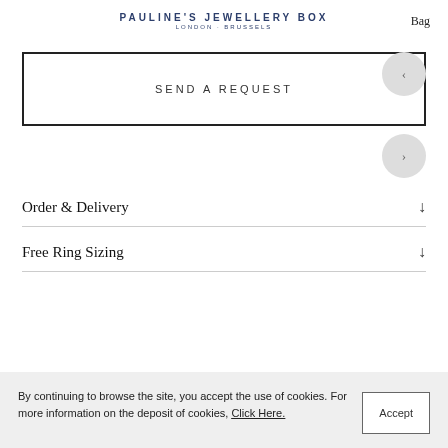PAULINE'S JEWELLERY BOX
LONDON · BRUSSELS
Bag
SEND A REQUEST
Order & Delivery
Free Ring Sizing
By continuing to browse the site, you accept the use of cookies. For more information on the deposit of cookies, Click Here.
Accept